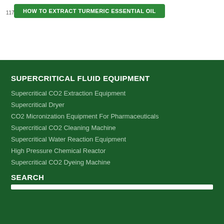[Figure (other): Green button/banner at top partially visible with white text about extracting essential oil]
SUPERCRITICAL FLUID EQUIPMENT
Supercritical CO2 Extraction Equipment
Supercritical Dryer
CO2 Micronization Equipment For Pharmaceuticals
Supercritical CO2 Cleaning Machine
Supercritical Water Reaction Equipment
High Pressure Chemical Reactor
Supercritical CO2 Dyeing Machine
SEARCH